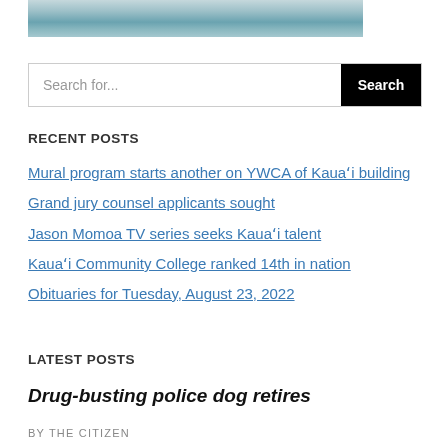[Figure (photo): Partial aerial or coastal ocean photo showing water surface, cropped at top of page]
Search for...
RECENT POSTS
Mural program starts another on YWCA of Kauaʻi building
Grand jury counsel applicants sought
Jason Momoa TV series seeks Kauaʻi talent
Kauaʻi Community College ranked 14th in nation
Obituaries for Tuesday, August 23, 2022
LATEST POSTS
Drug-busting police dog retires
BY THE CITIZEN